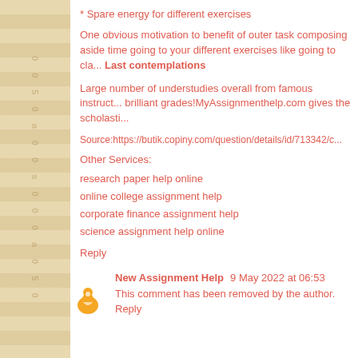* Spare energy for different exercises
One obvious motivation to benefit of outer task composing aside time going to your different exercises like going to cla... Last contemplations
Large number of understudies overall from famous instruct... brilliant grades!MyAssignmenthelp.com gives the scholasti...
Source:https://butik.copiny.com/question/details/id/713342/c...
Other Services:
research paper help online
online college assignment help
corporate finance assignment help
science assignment help online
Reply
New Assignment Help  9 May 2022 at 06:53
This comment has been removed by the author.
Reply